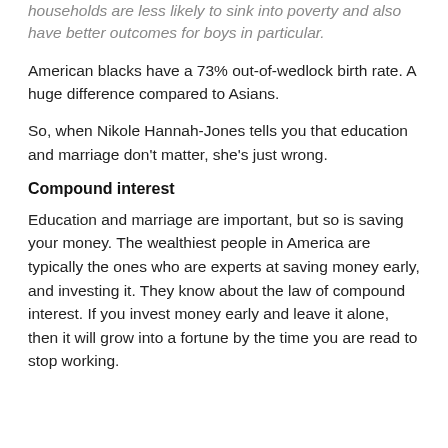households are less likely to sink into poverty and also have better outcomes for boys in particular.
American blacks have a 73% out-of-wedlock birth rate. A huge difference compared to Asians.
So, when Nikole Hannah-Jones tells you that education and marriage don’t matter, she’s just wrong.
Compound interest
Education and marriage are important, but so is saving your money. The wealthiest people in America are typically the ones who are experts at saving money early, and investing it. They know about the law of compound interest. If you invest money early and leave it alone, then it will grow into a fortune by the time you are read to stop working.